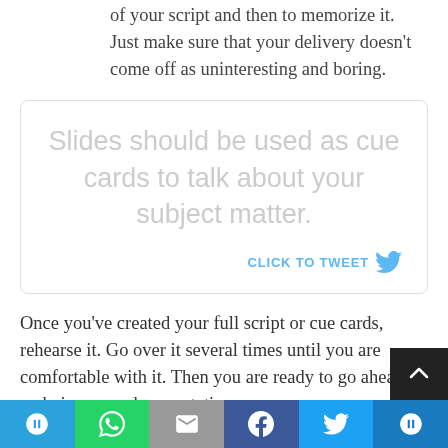Another option is to fully write out every word of your script and then to memorize it. Just make sure that your delivery doesn't come off as uninteresting and boring.
[Figure (infographic): Tweet quote box with light gray text reading 'Slides should be used as cue cards to talk about your subject matter.' and a 'CLICK TO TWEET' call to action with Twitter bird icon.]
Once you've created your full script or cue cards, rehearse it. Go over it several times until you are comfortable with it. Then you are ready to go ahead and give a good presentation.
Tips for video narration